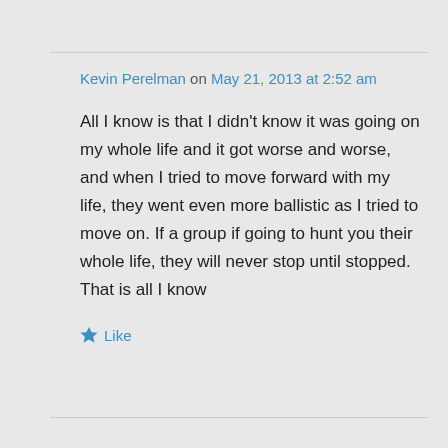Kevin Perelman on May 21, 2013 at 2:52 am
All I know is that I didn't know it was going on my whole life and it got worse and worse, and when I tried to move forward with my life, they went even more ballistic as I tried to move on. If a group if going to hunt you their whole life, they will never stop until stopped. That is all I know
Like